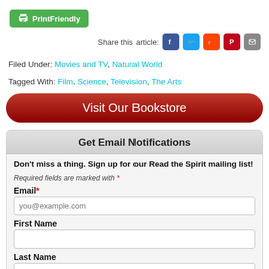[Figure (logo): PrintFriendly green button with printer icon]
Share this article:
Filed Under: Movies and TV, Natural World
Tagged With: Film, Science, Television, The Arts
Visit Our Bookstore
Get Email Notifications
Don't miss a thing. Sign up for our Read the Spirit mailing list!
Required fields are marked with *
Email*
First Name
Last Name